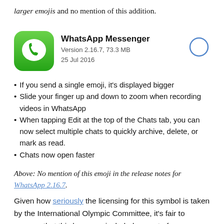larger emojis and no mention of this addition.
[Figure (screenshot): WhatsApp Messenger app store entry showing app icon (green rounded square with white phone/speech bubble), app name 'WhatsApp Messenger', Version 2.16.7, 73.3 MB, 25 Jul 2016, and a circular download/loading indicator on the right.]
If you send a single emoji, it's displayed bigger
Slide your finger up and down to zoom when recording videos in WhatsApp
When tapping Edit at the top of the Chats tab, you can now select multiple chats to quickly archive, delete, or mark as read.
Chats now open faster
Above: No mention of this emoji in the release notes for WhatsApp 2.16.7.
Given how seriously the licensing for this symbol is taken by the International Olympic Committee, it's fair to assume that this logo was included as part of a sponsorship or other